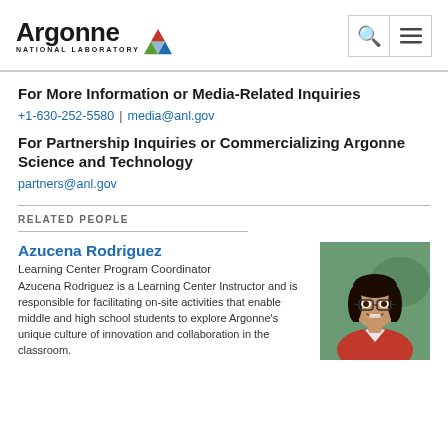Argonne National Laboratory
For More Information or Media-Related Inquiries
+1-630-252-5580 | media@anl.gov
For Partnership Inquiries or Commercializing Argonne Science and Technology
partners@anl.gov
RELATED PEOPLE
Azucena Rodriguez
Learning Center Program Coordinator
Azucena Rodriguez is a Learning Center Instructor and is responsible for facilitating on-site activities that enable middle and high school students to explore Argonne's unique culture of innovation and collaboration in the classroom.
[Figure (photo): Professional headshot of Azucena Rodriguez, a woman with glasses and dark hair, wearing a red top, smiling.]